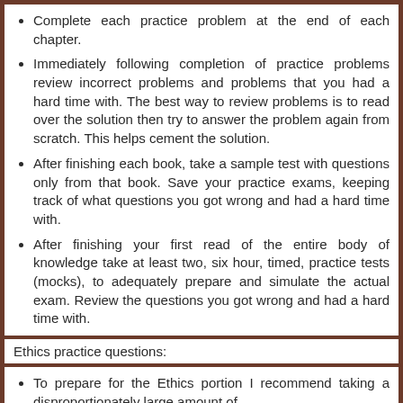Complete each practice problem at the end of each chapter.
Immediately following completion of practice problems review incorrect problems and problems that you had a hard time with. The best way to review problems is to read over the solution then try to answer the problem again from scratch. This helps cement the solution.
After finishing each book, take a sample test with questions only from that book. Save your practice exams, keeping track of what questions you got wrong and had a hard time with.
After finishing your first read of the entire body of knowledge take at least two, six hour, timed, practice tests (mocks), to adequately prepare and simulate the actual exam. Review the questions you got wrong and had a hard time with.
Ethics practice questions:
To prepare for the Ethics portion I recommend taking a disproportionately large amount of